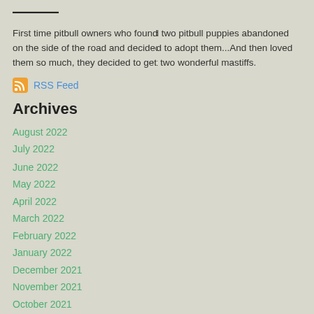First time pitbull owners who found two pitbull puppies abandoned on the side of the road and decided to adopt them...And then loved them so much, they decided to get two wonderful mastiffs.
RSS Feed
Archives
August 2022
July 2022
June 2022
May 2022
April 2022
March 2022
February 2022
January 2022
December 2021
November 2021
October 2021
September 2021
August 2021
July 2021